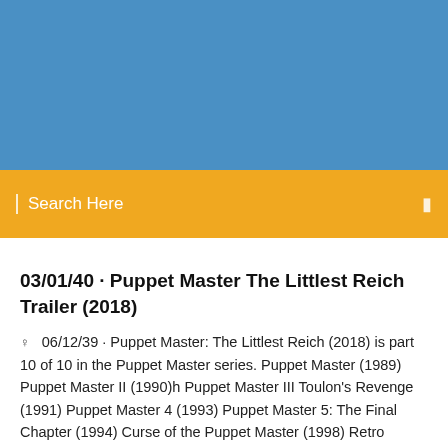[Figure (other): Blue header background banner]
Search Here
03/01/40 · Puppet Master The Littlest Reich Trailer (2018)
06/12/39 · Puppet Master: The Littlest Reich (2018) is part 10 of 10 in the Puppet Master series. Puppet Master (1989) Puppet Master II (1990)h Puppet Master III Toulon's Revenge (1991) Puppet Master 4 (1993) Puppet Master 5: The Final Chapter (1994) Curse of the Puppet Master (1998) Retro Puppet Master …  |